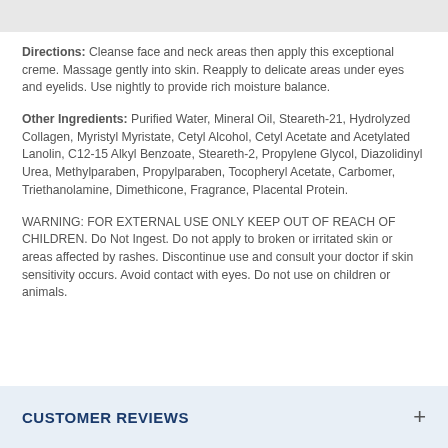Directions: Cleanse face and neck areas then apply this exceptional creme. Massage gently into skin. Reapply to delicate areas under eyes and eyelids. Use nightly to provide rich moisture balance.
Other Ingredients: Purified Water, Mineral Oil, Steareth-21, Hydrolyzed Collagen, Myristyl Myristate, Cetyl Alcohol, Cetyl Acetate and Acetylated Lanolin, C12-15 Alkyl Benzoate, Steareth-2, Propylene Glycol, Diazolidinyl Urea, Methylparaben, Propylparaben, Tocopheryl Acetate, Carbomer, Triethanolamine, Dimethicone, Fragrance, Placental Protein.
WARNING: FOR EXTERNAL USE ONLY KEEP OUT OF REACH OF CHILDREN. Do Not Ingest. Do not apply to broken or irritated skin or areas affected by rashes. Discontinue use and consult your doctor if skin sensitivity occurs. Avoid contact with eyes. Do not use on children or animals.
CUSTOMER REVIEWS